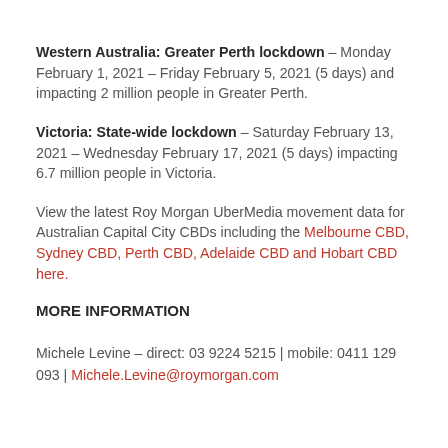Western Australia: Greater Perth lockdown – Monday February 1, 2021 – Friday February 5, 2021 (5 days) and impacting 2 million people in Greater Perth.
Victoria: State-wide lockdown – Saturday February 13, 2021 – Wednesday February 17, 2021 (5 days) impacting 6.7 million people in Victoria.
View the latest Roy Morgan UberMedia movement data for Australian Capital City CBDs including the Melbourne CBD, Sydney CBD, Perth CBD, Adelaide CBD and Hobart CBD here.
MORE INFORMATION
Michele Levine – direct: 03 9224 5215 | mobile: 0411 129 093 | Michele.Levine@roymorgan.com